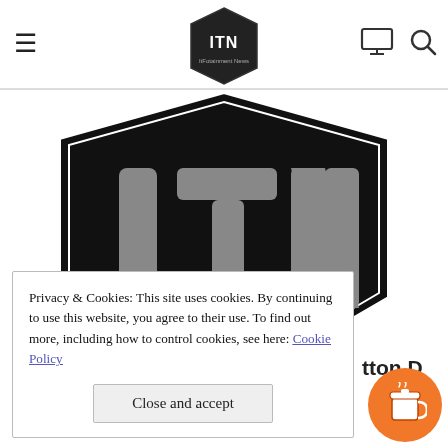≡ ITN (logo) [monitor icon] [search icon]
[Figure (logo): Large black hexagonal/shield-shaped logo with gray stylized 'ITN' letters and text 'INFOtainment News' below, on a white background]
Privacy & Cookies: This site uses cookies. By continuing to use this website, you agree to their use. To find out more, including how to control cookies, see here: Cookie Policy
Close and accept
tton D
[Figure (illustration): Orange circular button with coffee/tea cup icon]